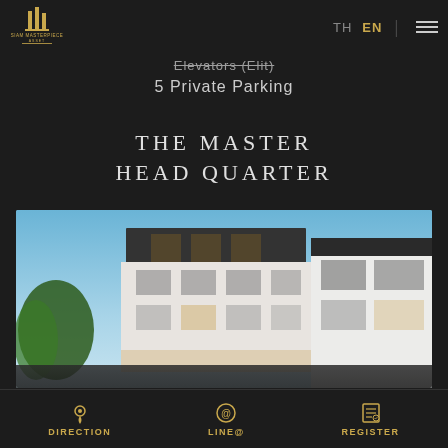[Figure (logo): Siam Masterpiece Asset logo with golden building columns icon and text]
TH  EN
Elevators (Elit)
5 Private Parking
THE MASTER HEAD QUARTER
[Figure (photo): Architectural rendering of a multi-storey modern luxury residential building with dark roof accents, large windows, and white facade, photographed at dusk with blue sky and green trees]
DIRECTION   LINE@   REGISTER